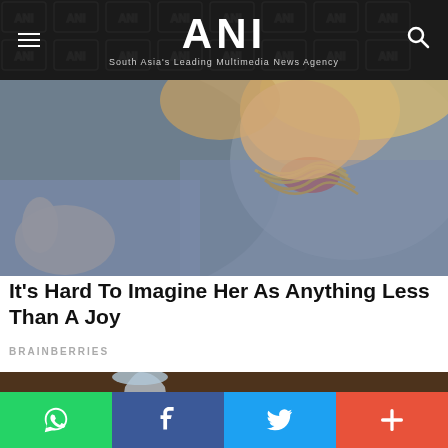ANI — South Asia's Leading Multimedia News Agency
[Figure (photo): Close-up of a person eating spaghetti pasta, with strands of pasta in mouth]
It's Hard To Imagine Her As Anything Less Than A Joy
BRAINBERRIES
[Figure (photo): Coffee being poured from a glass coffee pot into a white cup, on a wooden table]
WhatsApp | Facebook | Twitter | More